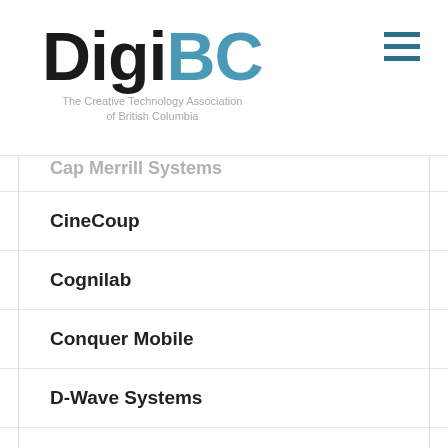[Figure (logo): DigiBC logo — 'Digi' in black bold, 'BC' in steel blue, with tagline 'The Creative Technology Association of British Columbia' below]
Cap Merrill Systems (partial, cut off)
CineCoup
Cognilab
Conquer Mobile
D-Wave Systems
Electronic Arts Canada
EchoSec (partial, cut off at bottom)